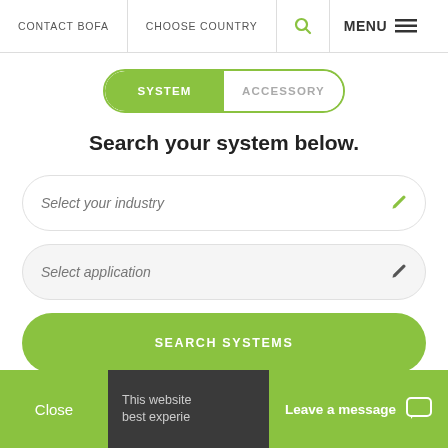CONTACT BOFA   CHOOSE COUNTRY   [search icon]   MENU
SYSTEM   ACCESSORY
Search your system below.
Select your industry
Select application
SEARCH SYSTEMS
Close   This website best experie...   Leave a message